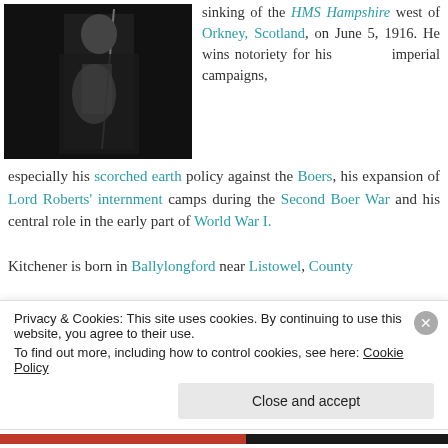[Figure (photo): Black and white photograph of a man in military uniform holding a sword, partially visible]
sinking of the HMS Hampshire west of Orkney, Scotland, on June 5, 1916. He wins notoriety for his imperial campaigns, especially his scorched earth policy against the Boers, his expansion of Lord Roberts' internment camps during the Second Boer War and his central role in the early part of World War I.
Kitchener is born in Ballylongford near Listowel, County
Privacy & Cookies: This site uses cookies. By continuing to use this website, you agree to their use.
To find out more, including how to control cookies, see here: Cookie Policy
Close and accept